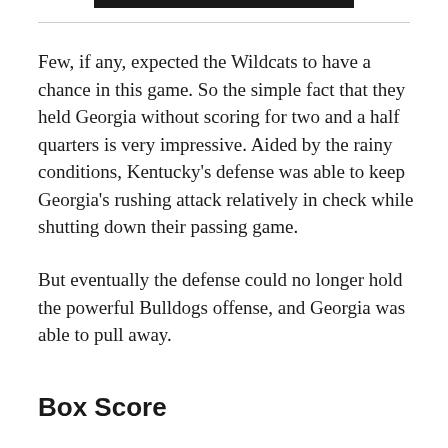Few, if any, expected the Wildcats to have a chance in this game. So the simple fact that they held Georgia without scoring for two and a half quarters is very impressive. Aided by the rainy conditions, Kentucky's defense was able to keep Georgia's rushing attack relatively in check while shutting down their passing game.
But eventually the defense could no longer hold the powerful Bulldogs offense, and Georgia was able to pull away.
Box Score